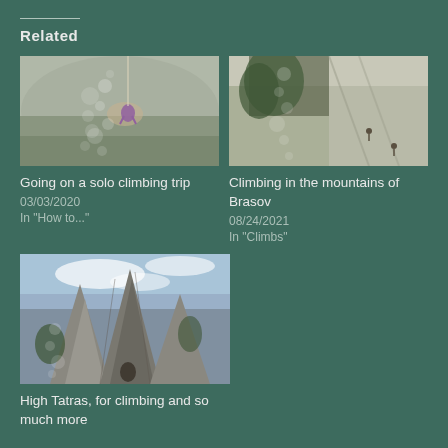Related
[Figure (photo): Rock climber on overhang, aerial view, person in purple/pink outfit climbing steep rock face]
Going on a solo climbing trip
03/03/2020
In "How to..."
[Figure (photo): Climbers on rocky mountain face with trees and steep cliff, top-down view]
Climbing in the mountains of Brasov
08/24/2021
In "Climbs"
[Figure (photo): Looking up at tall rocky spires and formations with blue sky and trees, High Tatras mountains]
High Tatras, for climbing and so much more